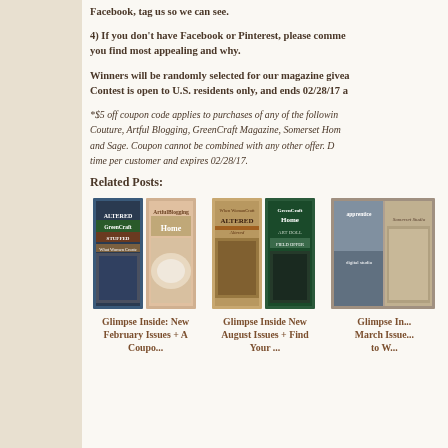Facebook, tag us so we can see.
4) If you don't have Facebook or Pinterest, please comment with what you find most appealing and why.
Winners will be randomly selected for our magazine giveaway. Contest is open to U.S. residents only, and ends 02/28/17 a
*$5 off coupon code applies to purchases of any of the following: Couture, Artful Blogging, GreenCraft Magazine, Somerset Home and Sage. Coupon cannot be combined with any other offer. D time per customer and expires 02/28/17.
Related Posts:
[Figure (photo): Magazine covers collage showing Altered, GreenCraft, Stuffed, Art Doll, Artful Blogging, Home magazines]
Glimpse Inside: New February Issues + A Coupo...
[Figure (photo): Magazine covers collage showing When WomanCraft, Altered, GreenCraft Home, Art Doll magazines]
Glimpse Inside New August Issues + Find Your ...
[Figure (photo): Magazine covers showing Apprentice, digital studio, Somerset Studio magazines]
Glimpse In... March Issue... to W...